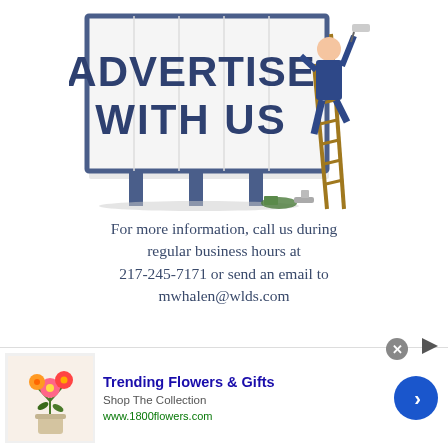[Figure (illustration): Billboard illustration showing 'ADVERTISE WITH US' text in dark blue bold letters on a white billboard with blue frame and posts. A person in blue work uniform is painting the billboard while standing on a ladder on the right side.]
For more information, call us during regular business hours at 217-245-7171 or send an email to mwhalen@wlds.com
Originally scheduled for a realignment beginning in...
[Figure (infographic): Advertisement banner: Trending Flowers & Gifts - Shop The Collection - www.1800flowers.com. Shows flowers image on left and navigation arrow button on right.]